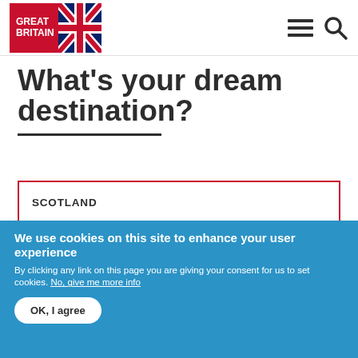GREAT BRITAIN (logo with Union Jack flag, navigation icons)
What's your dream destination?
SCOTLAND
WALES
NORTHERN IRELAND
We use cookies on this site to enhance your user experience
By clicking any link on this page you are giving your consent for us to set cookies. No, give me more info
OK, I agree